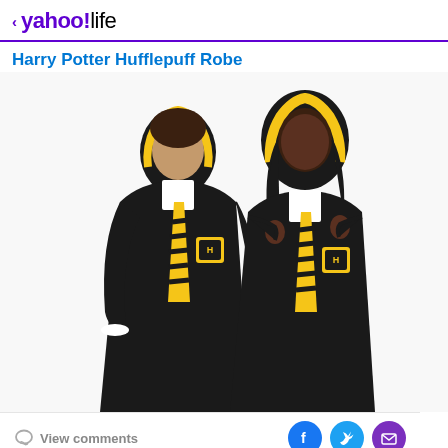< yahoo!life
Harry Potter Hufflepuff Robe
[Figure (photo): Two models wearing Harry Potter Hufflepuff robes — a man on the left and a woman on the right. Both wear black hooded robes with yellow-lined hoods, white shirts, and yellow and black striped Hufflepuff ties with the Hufflepuff house crest badge on the chest.]
View comments  [Facebook] [Twitter] [Mail]